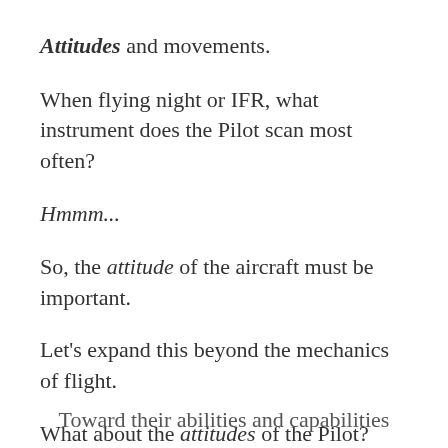Attitudes and movements.
When flying night or IFR, what instrument does the Pilot scan most often?
Hmmm...
So, the attitude of the aircraft must be important.
Let's expand this beyond the mechanics of flight.
What about the attitudes of the Pilot?
Toward their abilities and capabilities